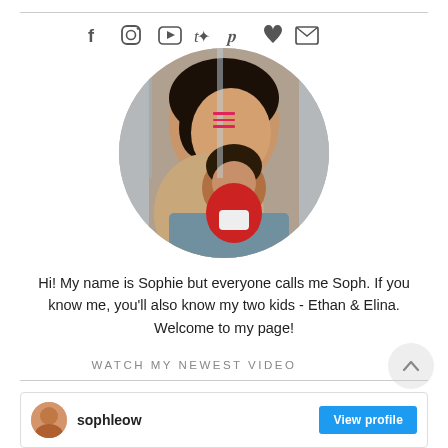[Figure (other): Social media icons row: Facebook, Instagram, YouTube, Twitter, Pinterest, heart/bloglovin, email]
[Figure (photo): Circular profile photo of a woman (Sophie) holding a baby in a red onesie, sitting near a window]
Hi! My name is Sophie but everyone calls me Soph. If you know me, you'll also know my two kids - Ethan & Elina. Welcome to my page!
WATCH MY NEWEST VIDEO
[Figure (other): Scroll-to-top button, circular grey with upward chevron]
[Figure (other): Profile bar showing avatar, username sophleow, and View profile button in blue]